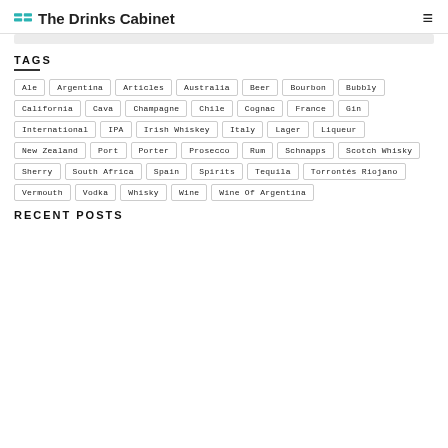The Drinks Cabinet
TAGS
Ale
Argentina
Articles
Australia
Beer
Bourbon
Bubbly
California
Cava
Champagne
Chile
Cognac
France
Gin
International
IPA
Irish Whiskey
Italy
Lager
Liqueur
New Zealand
Port
Porter
Prosecco
Rum
Schnapps
Scotch Whisky
Sherry
South Africa
Spain
Spirits
Tequila
Torrontés Riojano
Vermouth
Vodka
Whisky
Wine
Wine Of Argentina
RECENT POSTS